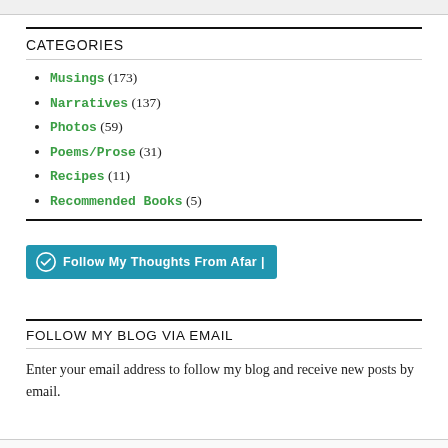CATEGORIES
Musings (173)
Narratives (137)
Photos (59)
Poems/Prose (31)
Recipes (11)
Recommended Books (5)
[Figure (other): Follow My Thoughts From Afar WordPress follow button]
FOLLOW MY BLOG VIA EMAIL
Enter your email address to follow my blog and receive new posts by email.